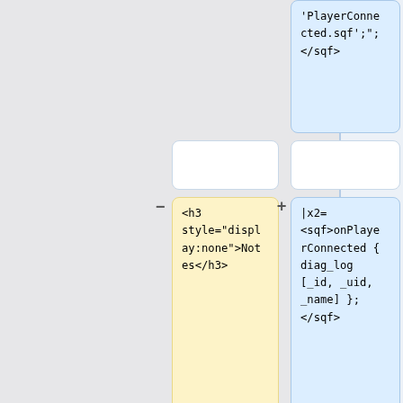[Figure (screenshot): Code diff viewer showing two columns of code blocks. Left column (yellow) shows HTML/markup code. Right column (blue) shows SQF scripting code. Diff markers (minus/plus) indicate removed and added lines. Top-right blue box shows 'PlayerConnected.sqf'; </sqf>. Middle-left yellow box shows <h3 style="display:none">Notes</h3>. Middle-right blue box shows |x2= <sqf>onPlayerConnected { diag_log [_id, _uid, _name] }; </sqf>. Lower-left yellow boxes show <dl class="command_description"> and <!-- Note Section BEGIN -->.]